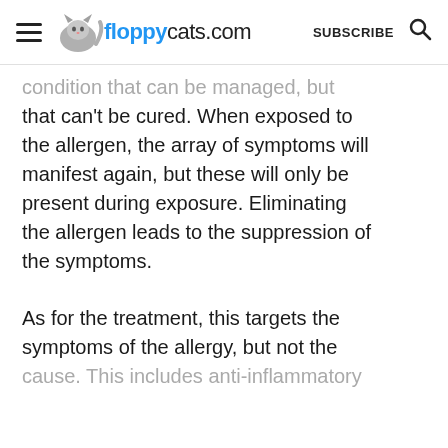floppycats.com  SUBSCRIBE
condition that can be managed, but that can't be cured. When exposed to the allergen, the array of symptoms will manifest again, but these will only be present during exposure. Eliminating the allergen leads to the suppression of the symptoms.
As for the treatment, this targets the symptoms of the allergy, but not the cause. This includes anti-inflammatory